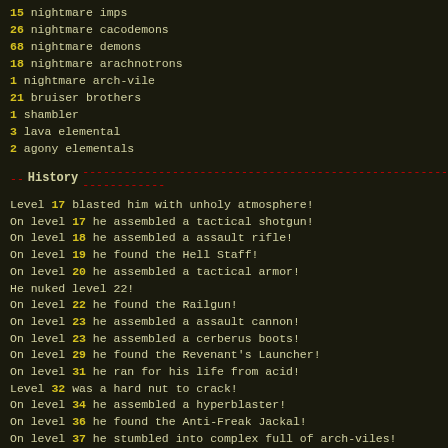15 nightmare imps
26 nightmare cacodemons
68 nightmare demons
18 nightmare arachnotrons
1 nightmare arch-vile
21 bruiser brothers
1 shambler
3 lava elemental
2 agony elementals
-- History ------------------------------------------
Level 17 blasted him with unholy atmosphere!
On level 17 he assembled a tactical shotgun!
On level 18 he assembled a assault rifle!
On level 19 he found the Hell Staff!
On level 20 he assembled a tactical armor!
He nuked level 22!
On level 22 he found the Railgun!
On level 23 he assembled a assault cannon!
On level 23 he assembled a cerberus boots!
On level 29 he found the Revenant's Launcher!
On level 31 he ran for his life from acid!
Level 32 was a hard nut to crack!
On level 34 he assembled a hyperblaster!
On level 36 he found the Anti-Freak Jackal!
On level 37 he stumbled into complex full of arch-viles!
On level 37 he encountered an armed nuke!
On level 42 he found the Shielded Armor!
On level 44 he found the Trigun!
He activated the Angel Arm on level 44!
On level 45 he ran for his life from acid!
On level 53 he found the Berserker Armor!
On level 54 he stumbled into a nightmare demon cave!
On level 55 he ran for his life from acid!
On level 57 he stumbled into complex full of arch-viles!
On level 57 he ran for his life from acid!
On level 58 he found the Enviroboots!